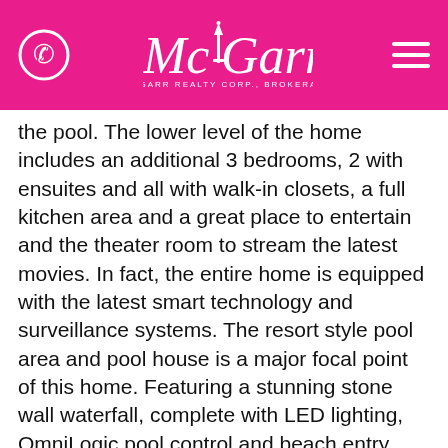[Figure (logo): McGarr Realty Corp., Brokerage logo on pink/magenta header bar with phone icon on left and hamburger menu icon on right]
the pool. The lower level of the home includes an additional 3 bedrooms, 2 with ensuites and all with walk-in closets, a full kitchen area and a great place to entertain and the theater room to stream the latest movies. In fact, the entire home is equipped with the latest smart technology and surveillance systems. The resort style pool area and pool house is a major focal point of this home. Featuring a stunning stone wall waterfall, complete with LED lighting, OmniLogic pool control and beach entry. The pool house has a large covered area, including a 2pc bath, change area and Al Fresco shower! This ravined property is one with nature with wonderful sunset vistas, a small creek, an abundance of wildlife and the sounds of birds filling the air. An oasis offering the utmost in privacy and luxury - a showplace redefining the Niagara dream home in remarkable style and striking sophistication. (id:36152)